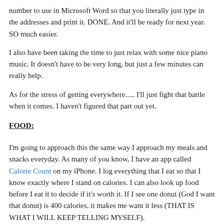number to use in Microsoft Word so that you literally just type in the addresses and print it. DONE. And it'll be ready for next year. SO much easier.
I also have been taking the time to just relax with some nice piano music. It doesn't have to be very long, but just a few minutes can really help.
As for the stress of getting everywhere..... I'll just fight that battle when it comes. I haven't figured that part out yet.
FOOD:
I'm going to approach this the same way I approach my meals and snacks everyday. As many of you know, I have an app called Calorie Count on my iPhone. I log everything that I eat so that I know exactly where I stand on calories. I can also look up food before I eat it to decide if it's worth it. If I see one donut (God I want that donut) is 400 calories, it makes me want it less (THAT IS WHAT I WILL KEEP TELLING MYSELF).